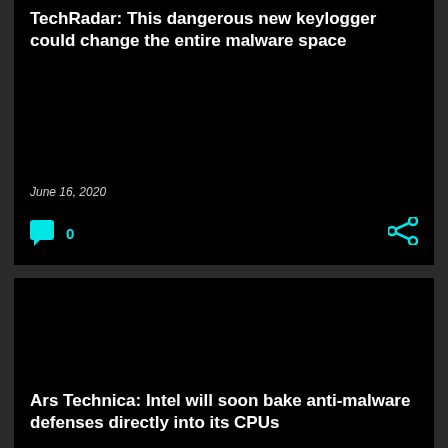TechRadar: This dangerous new keylogger could change the entire malware space
June 16, 2020
0
Ars Technica: Intel will soon bake anti-malware defenses directly into its CPUs